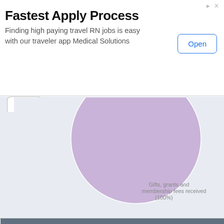[Figure (other): Advertisement banner: Fastest Apply Process - Finding high paying travel RN jobs is easy with our traveler app Medical Solutions. Open button on right.]
[Figure (pie-chart): Partial pie chart showing a large purple slice labeled 'Gifts, grants and membership fees received (100%)']
|  | 2012 | 2013 |
| --- | --- | --- |
| Is the organization described in section 501(c)(3) or 4947(a)(1) (other than a private foundation)? | Yes | Yes |
| Is the organization required to complete Schedule B, Schedule of Contributors? |  | Yes |
| Did the organization engage in direct or indirect political campaign activities on behalf of or in opposition to candidates for public | No | No |